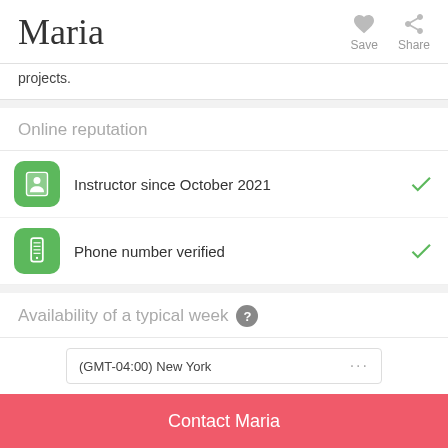Maria
projects.
Online reputation
Instructor since October 2021
Phone number verified
Availability of a typical week
(GMT-04:00) New York
Contact Maria